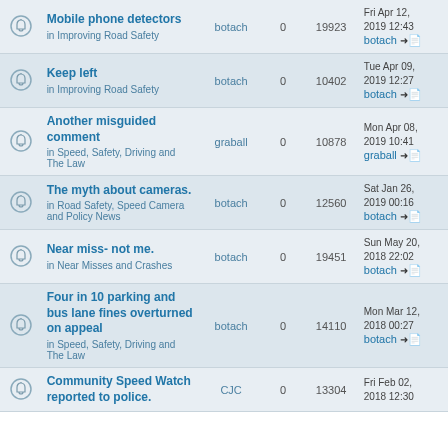|  | Topic | Author | Replies | Views | Last post |
| --- | --- | --- | --- | --- | --- |
|  | Mobile phone detectors
in Improving Road Safety | botach | 0 | 19923 | Fri Apr 12, 2019 12:43
botach |
|  | Keep left
in Improving Road Safety | botach | 0 | 10402 | Tue Apr 09, 2019 12:27
botach |
|  | Another misguided comment
in Speed, Safety, Driving and The Law | graball | 0 | 10878 | Mon Apr 08, 2019 10:41
graball |
|  | The myth about cameras.
in Road Safety, Speed Camera and Policy News | botach | 0 | 12560 | Sat Jan 26, 2019 00:16
botach |
|  | Near miss- not me.
in Near Misses and Crashes | botach | 0 | 19451 | Sun May 20, 2018 22:02
botach |
|  | Four in 10 parking and bus lane fines overturned on appeal
in Speed, Safety, Driving and The Law | botach | 0 | 14110 | Mon Mar 12, 2018 00:27
botach |
|  | Community Speed Watch reported to police. |  | 0 | 13304 | Fri Feb 02, 2018 12:30 |